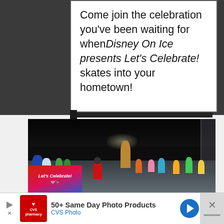Come join the celebration you've been waiting for when Disney On Ice presents Let's Celebrate! skates into your hometown!
[Figure (photo): Disney On Ice performers skating on ice rink during Let's Celebrate show, with Mickey Mouse and other Disney characters visible. A 'Let's Celebrate!' promotional badge overlay appears in the bottom-left corner of the photo.]
50+ Same Day Photo Products
CVS Photo